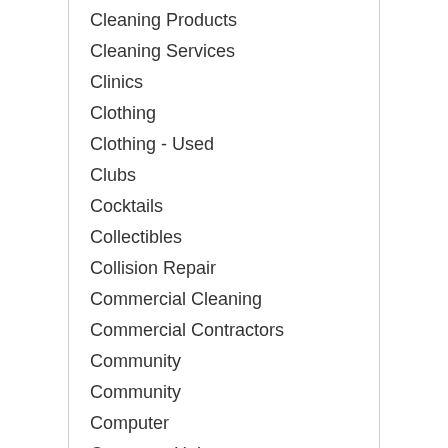Cleaning Products
Cleaning Services
Clinics
Clothing
Clothing - Used
Clubs
Cocktails
Collectibles
Collision Repair
Commercial Cleaning
Commercial Contractors
Community
Community
Computer
Computer Help